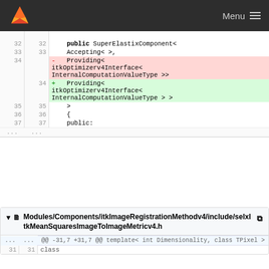Menu
[Figure (screenshot): GitLab diff view showing code changes. Lines 32-37 shown with line numbers. Line 34 deleted (red): '- Providing< itkOptimizerv4Interface< InternalComputationValueType >>'. Line 34 added (green): '+ Providing< itkOptimizerv4Interface< InternalComputationValueType > >'. Lines 35-37 show '>', '{', 'public:'. Ellipsis at bottom.]
Modules/Components/itkImageRegistrationMethodv4/include/selxItkMeanSquaresImageToImageMetricv4.h
@@ -31,7 +31,7 @@ template< int Dimensionality, class TPixel >